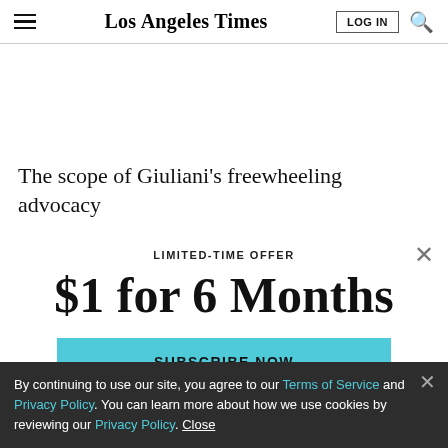Los Angeles Times
The scope of Giuliani's freewheeling advocacy
LIMITED-TIME OFFER
$1 for 6 Months
SUBSCRIBE NOW
By continuing to use our site, you agree to our Terms of Service and Privacy Policy. You can learn more about how we use cookies by reviewing our Privacy Policy. Close